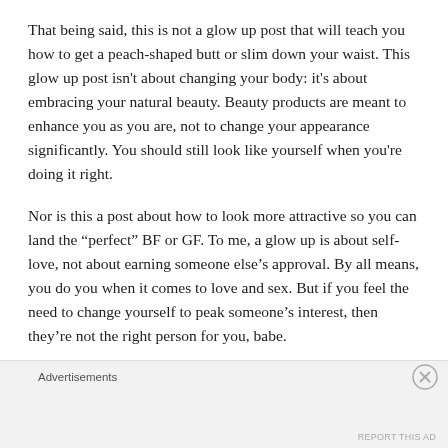That being said, this is not a glow up post that will teach you how to get a peach-shaped butt or slim down your waist. This glow up post isn't about changing your body: it's about embracing your natural beauty. Beauty products are meant to enhance you as you are, not to change your appearance significantly. You should still look like yourself when you're doing it right.
Nor is this a post about how to look more attractive so you can land the “perfect” BF or GF. To me, a glow up is about self-love, not about earning someone else’s approval. By all means, you do you when it comes to love and sex. But if you feel the need to change yourself to peak someone’s interest, then they’re not the right person for you, babe.
Advertisements